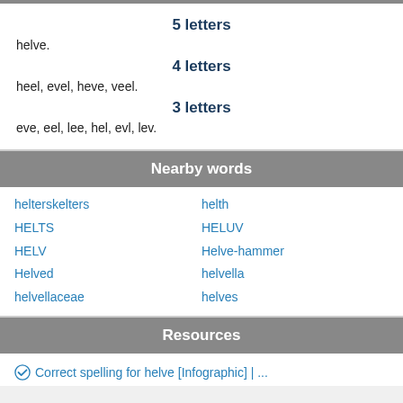5 letters
helve.
4 letters
heel, evel, heve, veel.
3 letters
eve, eel, lee, hel, evl, lev.
Nearby words
helterskelters
HELTS
HELV
Helved
helvellaceae
helth
HELUV
Helve-hammer
helvella
helves
Resources
Correct spelling for helve [Infographic] | ...